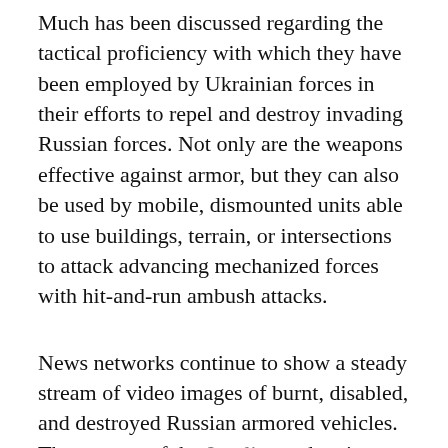Much has been discussed regarding the tactical proficiency with which they have been employed by Ukrainian forces in their efforts to repel and destroy invading Russian forces. Not only are the weapons effective against armor, but they can also be used by mobile, dismounted units able to use buildings, terrain, or intersections to attack advancing mechanized forces with hit-and-run ambush attacks.
News networks continue to show a steady stream of video images of burnt, disabled, and destroyed Russian armored vehicles. The success of the Javelins and anti-armor weapons from other